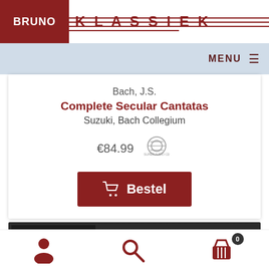BRUNO KLASSIEK
MENU
Bach, J.S.
Complete Secular Cantatas
Suzuki, Bach Collegium
€84.99
Bestel
[Figure (screenshot): Dark concert photo with BeatStar logo in top left corner]
[Figure (infographic): Bottom toolbar with person icon, search icon, and shopping cart icon with badge showing 0]